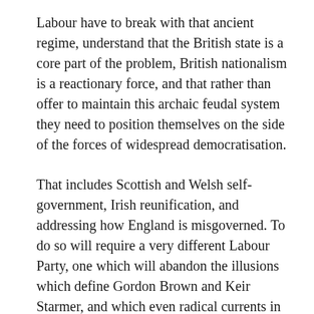Labour have to break with that ancient regime, understand that the British state is a core part of the problem, British nationalism is a reactionary force, and that rather than offer to maintain this archaic feudal system they need to position themselves on the side of the forces of widespread democratisation.
That includes Scottish and Welsh self-government, Irish reunification, and addressing how England is misgoverned. To do so will require a very different Labour Party, one which will abandon the illusions which define Gordon Brown and Keir Starmer, and which even radical currents in the party might not fully embrace. But while Labour dither and delay, as the UK is buffeted from crisis to crisis, they cannot expect the rest of us to wait around much longer.